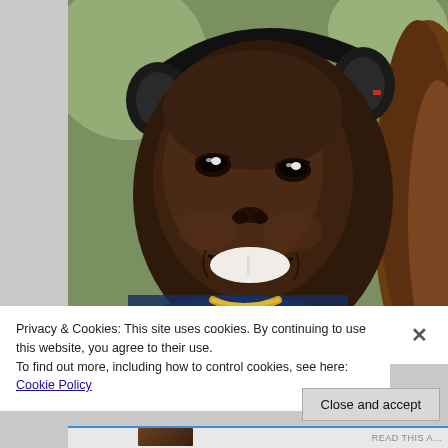[Figure (photo): A smiling child wearing black over-ear headphones and a blue and yellow jersey, photographed close-up. Another person with long brown hair is partially visible on the right side. The background appears to be an outdoor setting with greenery.]
Privacy & Cookies: This site uses cookies. By continuing to use this website, you agree to their use.
To find out more, including how to control cookies, see here: Cookie Policy
Close and accept